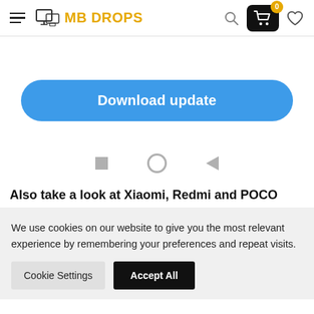MB DROPS
[Figure (screenshot): Blue rounded 'Download update' button]
[Figure (other): Android navigation bar with square, circle, and back triangle icons]
Also take a look at Xiaomi, Redmi and POCO
We use cookies on our website to give you the most relevant experience by remembering your preferences and repeat visits.
Cookie Settings  Accept All